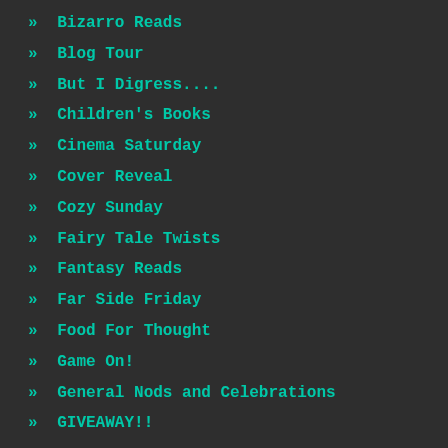» Bizarro Reads
» Blog Tour
» But I Digress....
» Children's Books
» Cinema Saturday
» Cover Reveal
» Cozy Sunday
» Fairy Tale Twists
» Fantasy Reads
» Far Side Friday
» Food For Thought
» Game On!
» General Nods and Celebrations
» GIVEAWAY!!